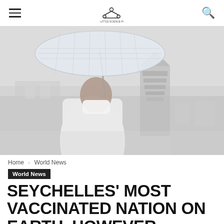≡  [logo]  🔍
[Figure (photo): Person wearing a white face mask and holding a checkered umbrella, standing in front of a temple tower and cityscape in foggy/overcast conditions]
Home › World News
World News
SEYCHELLES' MOST VACCINATED NATION ON EARTH, HOWEVER COVID-19